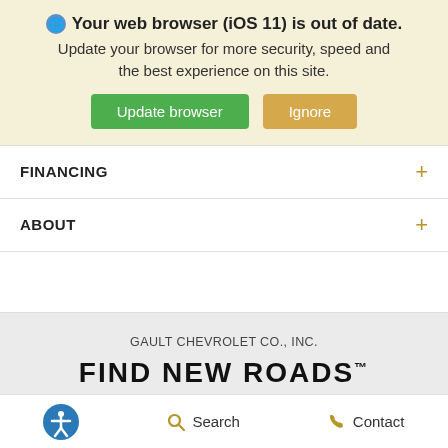Your web browser (iOS 11) is out of date. Update your browser for more security, speed and the best experience on this site. Update browser | Ignore
FINANCING
ABOUT
GAULT CHEVROLET CO., INC.
FIND NEW ROADS™
Copyright © 2022 - Gault Chevrolet Co., Inc.
Privacy Policy | Contact Us | Sitemap | Sitemap XML
Search  Contact